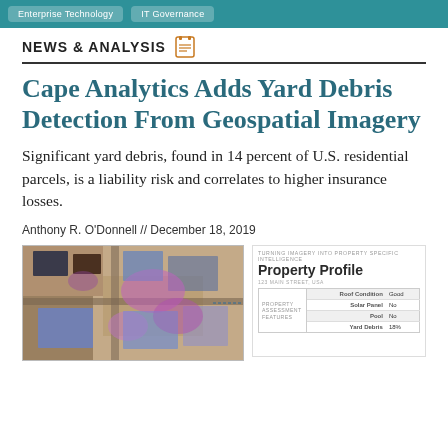Enterprise Technology   IT Governance
NEWS & ANALYSIS
Cape Analytics Adds Yard Debris Detection From Geospatial Imagery
Significant yard debris, found in 14 percent of U.S. residential parcels, is a liability risk and correlates to higher insurance losses.
Anthony R. O'Donnell // December 18, 2019
[Figure (photo): Aerial geospatial imagery of residential parcels with purple/blue overlay highlighting yard debris detection areas]
[Figure (table-as-image): Cape Analytics Property Profile card for 123 Main Street, USA showing property assessment features: Roof Condition: Good, Solar Panel: No, Pool: No, Yard Debris: 18%]